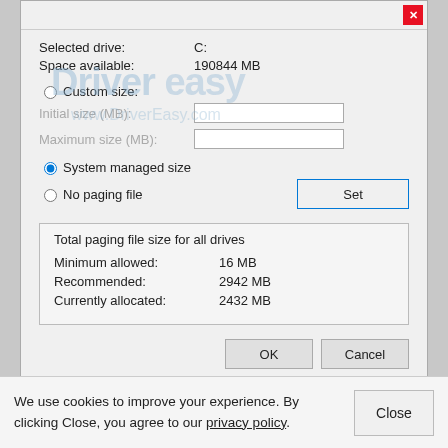[Figure (screenshot): Windows Virtual Memory dialog screenshot showing drive info, custom/system managed/no paging file radio buttons, input fields, Set button, total paging file size group box with Minimum allowed, Recommended, Currently allocated values, and OK/Cancel buttons. Watermark: DriverEasy / www.DriverEasy.com]
We use cookies to improve your experience. By clicking Close, you agree to our privacy policy.